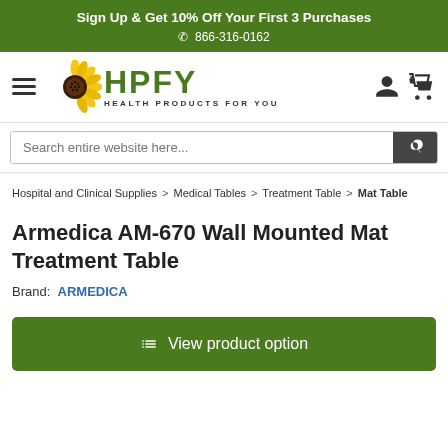Sign Up & Get 10% Off Your First 3 Purchases
☎ 866-316-0162
[Figure (logo): HPFY Health Products For You logo with sunflower icon]
Search entire website here...
Hospital and Clinical Supplies > Medical Tables > Treatment Table > Mat Table
Armedica AM-670 Wall Mounted Mat Treatment Table
Brand: ARMEDICA
View product option